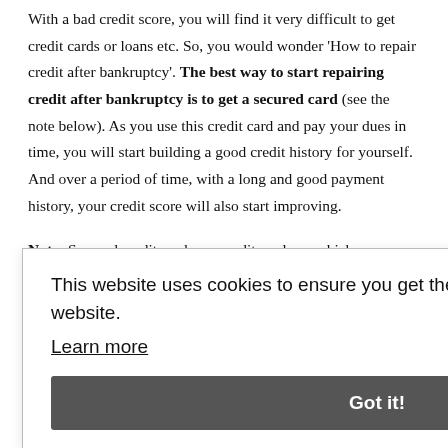With a bad credit score, you will find it very difficult to get credit cards or loans etc. So, you would wonder 'How to repair credit after bankruptcy'. The best way to start repairing credit after bankruptcy is to get a secured card (see the note below). As you use this credit card and pay your dues in time, you will start building a good credit history for yourself. And over a period of time, with a long and good payment history, your credit score will also start improving.
Note: Secured credit cards are credit cards on which your credit limit is linked to the amount of money you deposit with card-issuing [bank. The maximum amount you can spend is linked to what you have already deposited.] [The advantage of a secured card is that you can only spend what you have - most people do not overspend like they did in the past). Since you are effectively spending only the money that you have
This website uses cookies to ensure you get the best experience on our website. Learn more Got it!